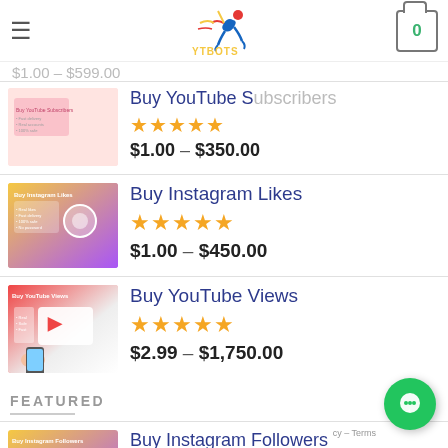YTBOTS — navigation header with logo, hamburger menu, and cart
$1.00 – $599.00
Buy YouTube Subscribers
$1.00 – $350.00
Buy Instagram Likes
$1.00 – $450.00
Buy YouTube Views
$2.99 – $1,750.00
FEATURED
Buy Instagram Followers
$1.00 – $599.00